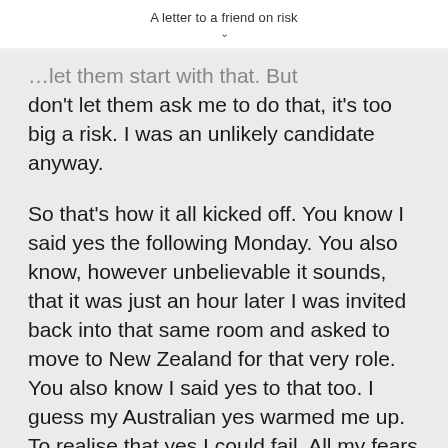A letter to a friend on risk
...don't let them ask me to do that, it's too big a risk. I was an unlikely candidate anyway.
So that's how it all kicked off. You know I said yes the following Monday. You also know, however unbelievable it sounds, that it was just an hour later I was invited back into that same room and asked to move to New Zealand for that very role. You also know I said yes to that too. I guess my Australian yes warmed me up. To realise that yes I could fail. All my fears could come true but God was with me either way and...